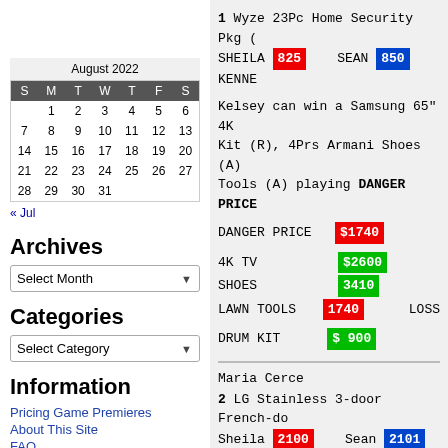| S | M | T | W | T | F | S |
| --- | --- | --- | --- | --- | --- | --- |
|  | 1 | 2 | 3 | 4 | 5 | 6 |
| 7 | 8 | 9 | 10 | 11 | 12 | 13 |
| 14 | 15 | 16 | 17 | 18 | 19 | 20 |
| 21 | 22 | 23 | 24 | 25 | 26 | 27 |
| 28 | 29 | 30 | 31 |  |  |  |
« Jul
Archives
Select Month
Categories
Select Category
Information
Pricing Game Premieres
About This Site
FAQ
Contact
1 Wyze 23Pc Home Security Pkg (... SHEILA 825  SEAN 850  KENNE...
Kelsey can win a Samsung 65" 4K... Kit (R), 4Prs Armani Shoes (A) ... Tools (A) playing DANGER PRICE
DANGER PRICE $1740
4K TV $2600
SHOES 3410
LAWN TOOLS 1740 LOSS
DRUM KIT $ 900
Maria Cerce
2 LG Stainless 3-door French-do... Sheila 2100  Sean 2101  KENNE...
Kenneth can win a trip to Marra... Idra) & $200 Credit (A) playing...
Wrong Price 5876
  FLIPS to 8576
     ARP 8576  WIN